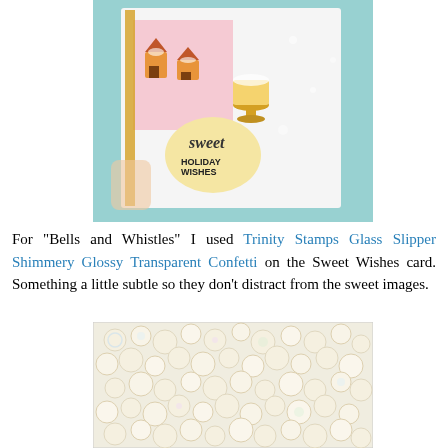[Figure (photo): Hand holding a handmade holiday card featuring gingerbread houses and cakes on pink and yellow panels with 'Sweet Holiday Wishes' stamped text, on a teal glittery background.]
For "Bells and Whistles" I used Trinity Stamps Glass Slipper Shimmery Glossy Transparent Confetti on the Sweet Wishes card. Something a little subtle so they don't distract from the sweet images.
[Figure (photo): Close-up macro photo of iridescent transparent glossy confetti circles/discs piled together, showing pearl-like shimmer.]